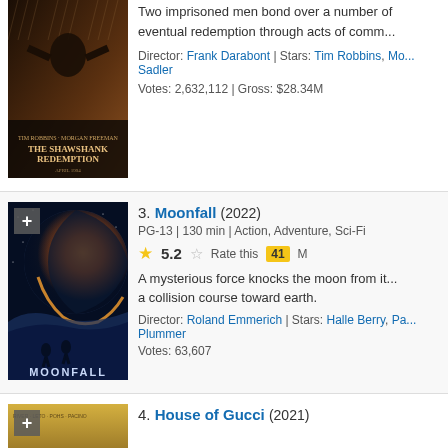[Figure (photo): Shawshank Redemption movie poster (partial, top of page, dark orange/brown tones)]
Two imprisoned men bond over a number of eventual redemption through acts of comm...
Director: Frank Darabont | Stars: Tim Robbins, Mo... Sadler
Votes: 2,632,112 | Gross: $28.34M
[Figure (photo): Moonfall (2022) movie poster - dark blue, moon, astronauts]
3. Moonfall (2022)
PG-13 | 130 min | Action, Adventure, Sci-Fi
Rating: 5.2
A mysterious force knocks the moon from it... a collision course toward earth.
Director: Roland Emmerich | Stars: Halle Berry, Pa... Plummer
Votes: 63,607
[Figure (photo): House of Gucci (2021) movie poster - gold/yellow tones]
4. House of Gucci (2021)